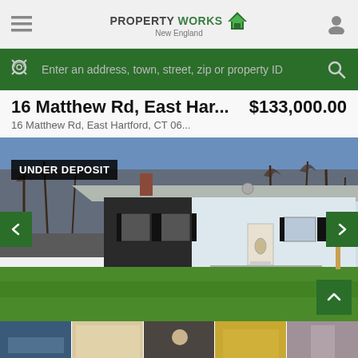PROPERTYWORKS New England
Enter an address, town, street, zip or property ID
16 Matthew Rd, East Har... $133,000.00
16 Matthew Rd, East Hartford, CT 06...
[Figure (photo): Exterior photo of a single-story ranch home with white siding, dark shutters, green lawn, and bare trees in background. Badge reads UNDER DEPOSIT.]
[Figure (photo): Thumbnail strip of 5 interior/exterior property photos at the bottom of the page.]